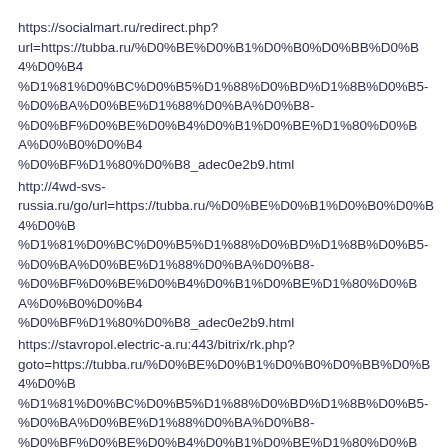https://socialmart.ru/redirect.php?url=https://tubba.ru/%D0%BE%D0%B1%D0%B0%D0%BB%D0%B4%D1%81%D0%BC%D0%B5%D1%88%D0%BD%D1%8B%D0%B5-%D0%BA%D0%BE%D1%88%D0%BA%D0%B8-%D0%BF%D0%BE%D0%B4%D0%B1%D0%BE%D1%80%D0%BA%D0%B0%D0%BC%D0%B8-%D0%BF%D1%80%D0%B8_adec0e2b9.html
http://4wd-svs-russia.ru/go/url=https://tubba.ru/%D0%BE%D0%B1%D0%B0%D0%B1%D1%81%D0%BC%D0%B5%D1%88%D0%BD%D1%8B%D0%B5-%D0%BA%D0%BE%D1%88%D0%BA%D0%B8-%D0%BF%D0%BE%D0%B4%D0%B1%D0%BE%D1%80%D0%BA%D0%B0%D0%BC%D0%B8-%D0%BF%D1%80%D0%B8_adec0e2b9.html
https://stavropol.electric-a.ru:443/bitrix/rk.php?goto=https://tubba.ru/%D0%BE%D0%B1%D0%B0%D0%B1%D0%B1%D1%81%D0%BC%D0%B5%D1%88%D0%BD%D1%8B%D0%B5-%D0%BA%D0%BE%D1%88%D0%BA%D0%B8-%D0%BF%D0%BE%D0%B4%D0%B1%D0%BE%D1%80%D0%BA%D0%B0%D0%BC%D0%B8-%D0%BF%D1%80%D0%B8_adec0e2b9.html
https://www.islam43.ru/go/url=https://tubba.ru/%D0%BE%D0%B1%D1%81%D0%BC%D0%B5%D1%88%D0%BD%D1%8B%D0%B5-%D0%BA%D0%BE%D1%88%D0%BA%D0%B8-%D0%BF%D0%BE%D0%B4%D0%B1%D0%BE%D1%80%D0%BA%D0%B0%D0%BC%D0%B8-%D0%BF%D1%80%D0%B8_adec0e2b9.html